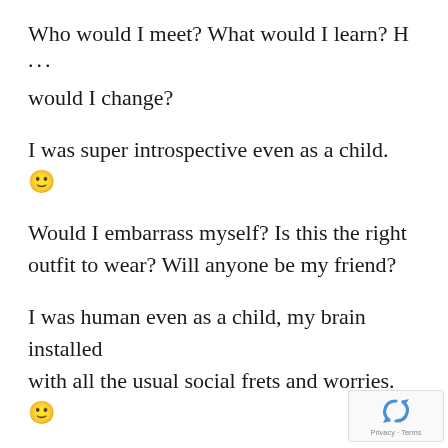Who would I meet? What would I learn? H ... would I change?
I was super introspective even as a child. 🙂
Would I embarrass myself? Is this the right outfit to wear? Will anyone be my friend?
I was human even as a child, my brain installed with all the usual social frets and worries. 🙂
I was in a new school almost every year,